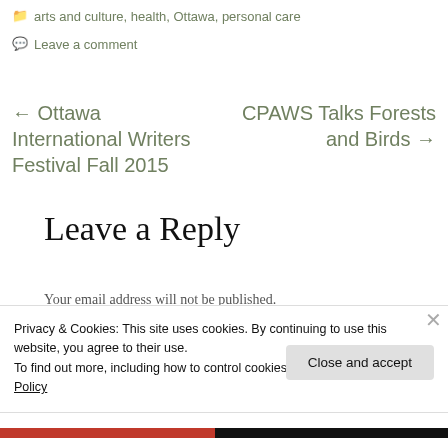arts and culture, health, Ottawa, personal care
Leave a comment
← Ottawa International Writers Festival Fall 2015
CPAWS Talks Forests and Birds →
Leave a Reply
Your email address will not be published.
Privacy & Cookies: This site uses cookies. By continuing to use this website, you agree to their use.
To find out more, including how to control cookies, see here: Cookie Policy